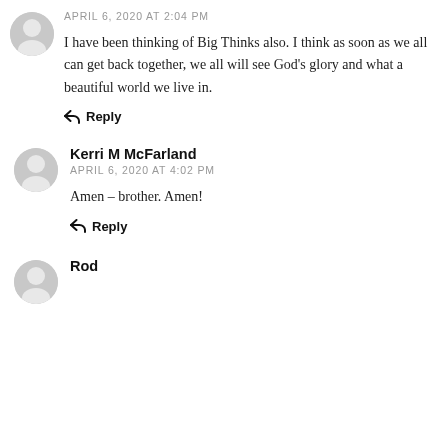APRIL 6, 2020 AT 2:04 PM
I have been thinking of Big Thinks also. I think as soon as we all can get back together, we all will see God's glory and what a beautiful world we live in.
Reply
Kerri M McFarland
APRIL 6, 2020 AT 4:02 PM
Amen – brother. Amen!
Reply
Rod